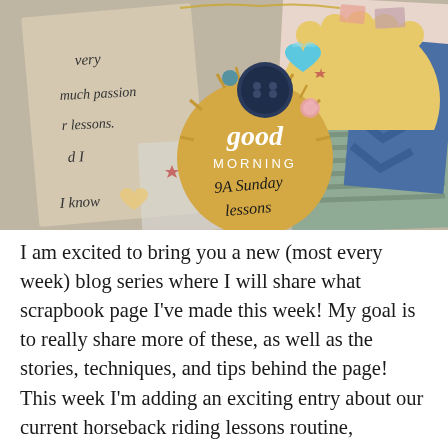[Figure (photo): Close-up photo of a scrapbook page with handwritten notes, decorative elements including a gold 'good MORNING' circular sticker, a dark navy button, heart stickers, and handwritten text reading '9A Sunday lessons'. The left side shows partial handwritten words: 'very', 'much passion', 'r lessons.', 'd I', 'I know'.]
I am excited to bring you a new (most every week) blog series where I will share what scrapbook page I've made this week! My goal is to really share more of these, as well as the stories, techniques, and tips behind the page! This week I'm adding an exciting entry about our current horseback riding lessons routine,